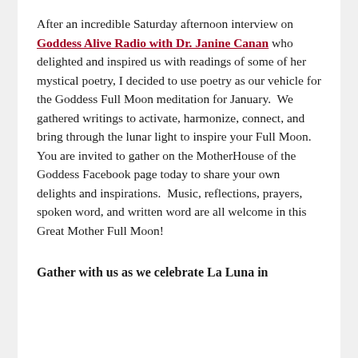After an incredible Saturday afternoon interview on Goddess Alive Radio with Dr. Janine Canan who delighted and inspired us with readings of some of her mystical poetry, I decided to use poetry as our vehicle for the Goddess Full Moon meditation for January.  We gathered writings to activate, harmonize, connect, and bring through the lunar light to inspire your Full Moon.  You are invited to gather on the MotherHouse of the Goddess Facebook page today to share your own delights and inspirations.  Music, reflections, prayers, spoken word, and written word are all welcome in this Great Mother Full Moon!
Gather with us as we celebrate La Luna in